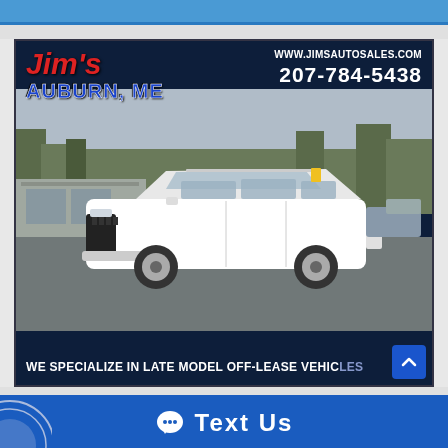[Figure (advertisement): Jim's Auto Sales advertisement banner featuring dark navy background, red and blue logo text reading Jim's AUBURN, ME, website www.jimsautosales.com, phone 207-784-5438, photo of white Jeep Cherokee SUV in a parking lot, tagline WE SPECIALIZE IN LATE MODEL OFF-LEASE VEHICLES]
WE SPECIALIZE IN LATE MODEL OFF-LEASE VEHICLES
Text Us